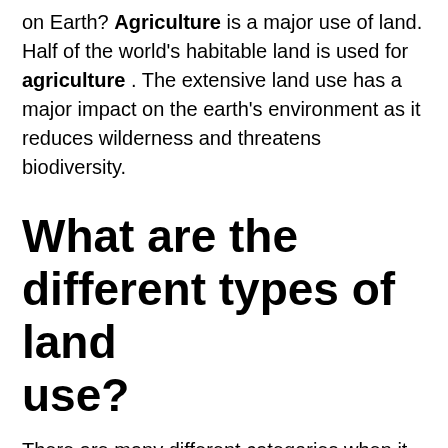on Earth? Agriculture is a major use of land. Half of the world's habitable land is used for agriculture . The extensive land use has a major impact on the earth's environment as it reduces wilderness and threatens biodiversity.
What are the different types of land use?
There are many different categories when it comes to land use. The five most common uses are recreational, transport,